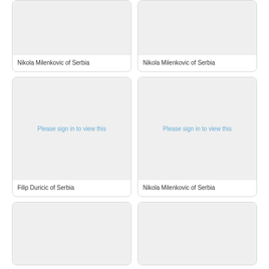[Figure (photo): Card with image placeholder (top partial) - Nikola Milenkovic of Serbia]
Nikola Milenkovic of Serbia
[Figure (photo): Card with image placeholder (top partial) - Nikola Milenkovic of Serbia]
Nikola Milenkovic of Serbia
[Figure (photo): Card with 'Please sign in to view this' message - Filip Duricic of Serbia]
Filip Duricic of Serbia
[Figure (photo): Card with 'Please sign in to view this' message - Nikola Milenkovic of Serbia]
Nikola Milenkovic of Serbia
[Figure (photo): Card with image placeholder (bottom partial)]
[Figure (photo): Card with image placeholder (bottom partial)]